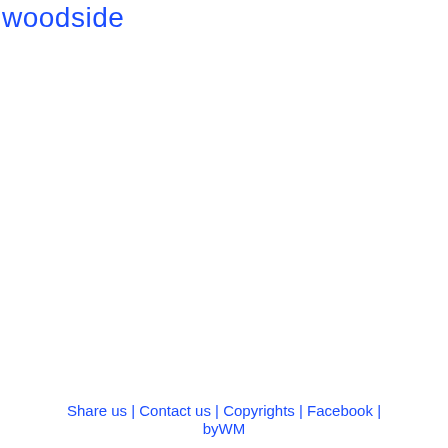woodside
Share us | Contact us | Copyrights | Facebook | byWM